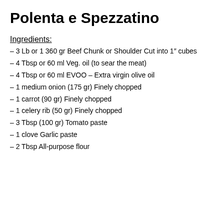Polenta e Spezzatino
Ingredients:
– 3 Lb or 1 360 gr Beef Chunk or Shoulder Cut into 1″ cubes
– 4 Tbsp or 60 ml Veg. oil (to sear the meat)
– 4 Tbsp or 60 ml EVOO – Extra virgin olive oil
– 1 medium onion (175 gr) Finely chopped
– 1 carrot (90 gr) Finely chopped
– 1 celery rib (50 gr) Finely chopped
– 3 Tbsp (100 gr) Tomato paste
– 1 clove Garlic paste
– 2 Tbsp All-purpose flour